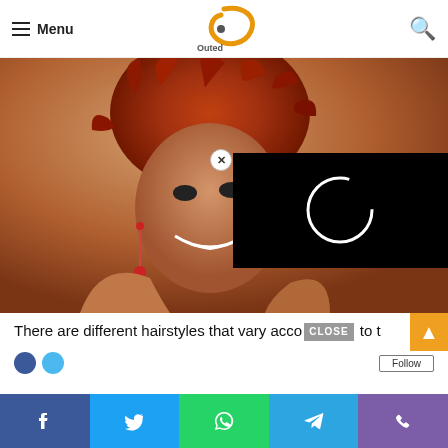≡ Menu  [Outed logo]  🔍
[Figure (photo): Woman with voluminous red-dyed natural afro hairstyle, smiling and leaning forward, wearing a dangling earring. Background is neutral. A black video-loading overlay is visible in the bottom-right of the photo area, with a circular spinner and a close (×) button.]
There are different hairstyles that vary according to t…
[Figure (screenshot): Social share bar at bottom with Facebook, Twitter, WhatsApp, Telegram, and phone/viber buttons in their respective brand colors.]